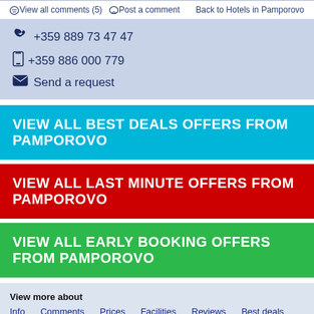View all comments (5)  Post a comment    Back to Hotels in Pamporovo
+359 889 73 47 47
+359 886 000 779
Send a request
VIEW ALL BEST DEALS OFFERS FROM PAMPOROVO
VIEW ALL LAST MINUTE OFFERS FROM PAMPOROVO
VIEW ALL EARLY BOOKING OFFERS FROM PAMPOROVO
View more about
Info   Comments   Prices   Facilities   Reviews   Best deals   Last Minute   Early Booking
View more hotels in
Dafovska Hotel   Effect Malina Residence Hotel   Finlandia Hotel